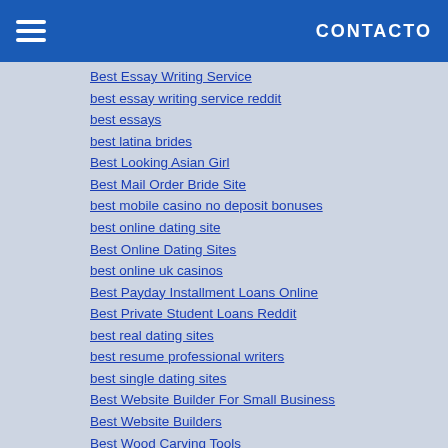CONTACTO
Best Essay Writing Service
best essay writing service reddit
best essays
best latina brides
Best Looking Asian Girl
Best Mail Order Bride Site
best mobile casino no deposit bonuses
best online dating site
Best Online Dating Sites
best online uk casinos
Best Payday Installment Loans Online
Best Private Student Loans Reddit
best real dating sites
best resume professional writers
best single dating sites
Best Website Builder For Small Business
Best Website Builders
Best Wood Carving Tools
Best Writing Services 2019
beste online casino karamba
bid4papers
bitcoin poker sites